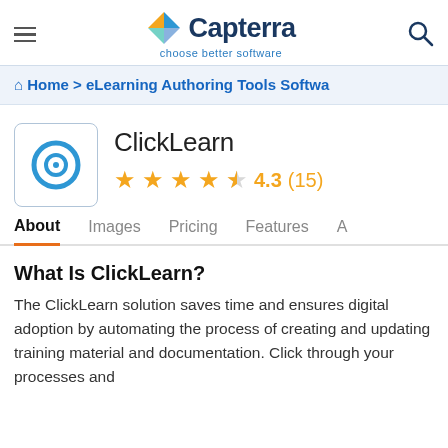Capterra — choose better software
Home > eLearning Authoring Tools Softwa
ClickLearn
4.3 (15)
About  Images  Pricing  Features  A
What Is ClickLearn?
The ClickLearn solution saves time and ensures digital adoption by automating the process of creating and updating training material and documentation. Click through your processes and